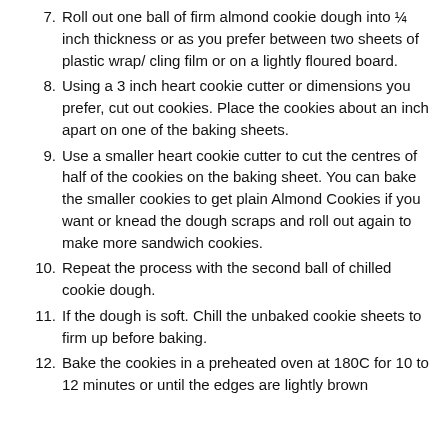7. Roll out one ball of firm almond cookie dough into ¼ inch thickness or as you prefer between two sheets of plastic wrap/ cling film or on a lightly floured board.
8. Using a 3 inch heart cookie cutter or dimensions you prefer, cut out cookies. Place the cookies about an inch apart on one of the baking sheets.
9. Use a smaller heart cookie cutter to cut the centres of half of the cookies on the baking sheet. You can bake the smaller cookies to get plain Almond Cookies if you want or knead the dough scraps and roll out again to make more sandwich cookies.
10. Repeat the process with the second ball of chilled cookie dough.
11. If the dough is soft. Chill the unbaked cookie sheets to firm up before baking.
12. Bake the cookies in a preheated oven at 180C for 10 to 12 minutes or until the edges are lightly brown